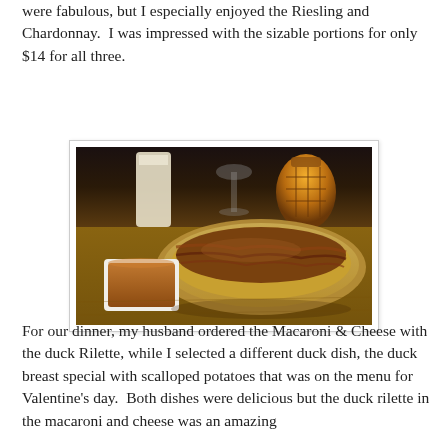were fabulous, but I especially enjoyed the Riesling and Chardonnay.  I was impressed with the sizable portions for only $14 for all three.
[Figure (photo): A food photograph showing an oval dish of macaroni and cheese topped with duck rilette (browned, meaty topping) on a wooden table, with a small white square bowl of brown dipping sauce to the left, and glassware visible in the background including a tall white glass and an amber decorative vessel.]
For our dinner, my husband ordered the Macaroni & Cheese with the duck Rilette, while I selected a different duck dish, the duck breast special with scalloped potatoes that was on the menu for Valentine's day.  Both dishes were delicious but the duck rilette in the macaroni and cheese was an amazing